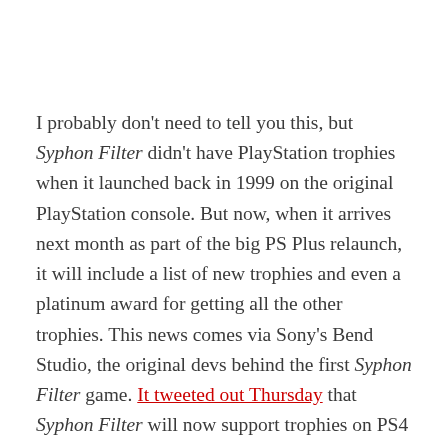I probably don't need to tell you this, but Syphon Filter didn't have PlayStation trophies when it launched back in 1999 on the original PlayStation console. But now, when it arrives next month as part of the big PS Plus relaunch, it will include a list of new trophies and even a platinum award for getting all the other trophies. This news comes via Sony's Bend Studio, the original devs behind the first Syphon Filter game. It tweeted out Thursday that Syphon Filter will now support trophies on PS4 and PS5.